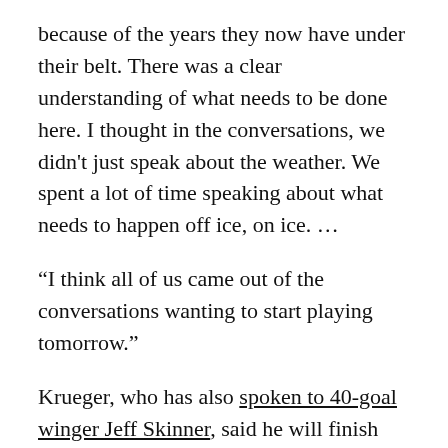because of the years they now have under their belt. There was a clear understanding of what needs to be done here. I thought in the conversations, we didn't just speak about the weather. We spent a lot of time speaking about what needs to happen off ice, on ice. …
“I think all of us came out of the conversations wanting to start playing tomorrow.”
Krueger, who has also spoken to 40-goal winger Jeff Skinner, said he will finish chatting with his players in the next few weeks. He said he will have talked to about half by the end of this week.
Krueger, of course, has only spent three years in the NHL, two of them as an assistant with